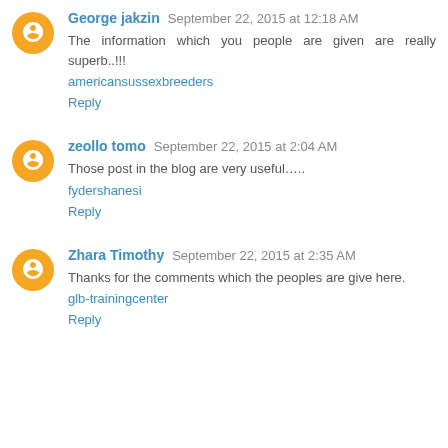George jakzin  September 22, 2015 at 12:18 AM
The information which you people are given are really superb..!!!
americansussexbreeders
Reply
zeollo tomo  September 22, 2015 at 2:04 AM
Those post in the blog are very useful.....
fydershanesi
Reply
Zhara Timothy  September 22, 2015 at 2:35 AM
Thanks for the comments which the peoples are give here.
glb-trainingcenter
Reply